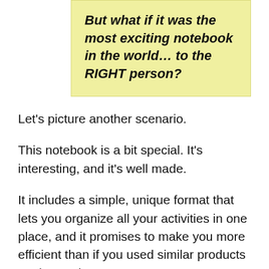But what if it was the most exciting notebook in the world… to the RIGHT person?
Let's picture another scenario.
This notebook is a bit special. It's interesting, and it's well made.
It includes a simple, unique format that lets you organize all your activities in one place, and it promises to make you more efficient than if you used similar products on the market.
The customer is an executive who no matter how